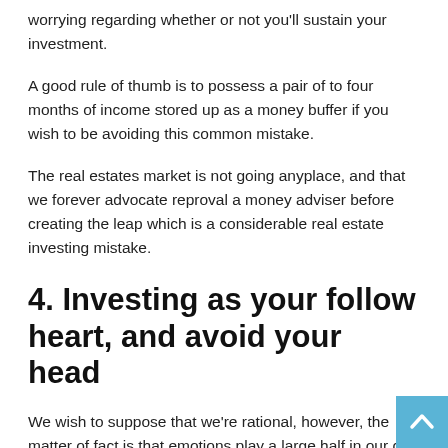worrying regarding whether or not you'll sustain your investment.
A good rule of thumb is to possess a pair of to four months of income stored up as a money buffer if you wish to be avoiding this common mistake.
The real estates market is not going anyplace, and that we forever advocate reproval a money adviser before creating the leap which is a considerable real estate investing mistake.
4. Investing as your follow heart, and avoid your head
We wish to suppose that we're rational, however, the matter of fact is that emotions play a large half in our call after we get our home. For your investment real estate, that is what you